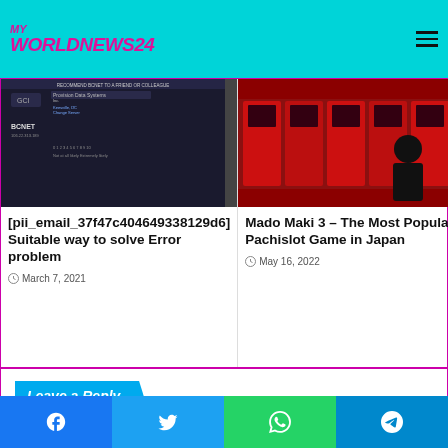My World News 24
[Figure (screenshot): Screenshot of a dark-themed website showing data/networking interface with BCNET text]
[pii_email_37f47c404649338129d6] Suitable way to solve Error problem
March 7, 2021
[Figure (photo): Photo of a person playing pachinko/pachislot machines in Japan]
Mado Maki 3 – The Most Popular Pachislot Game in Japan
May 16, 2022
Leave a Reply
You must be logged in to post a comment.
Recent Posts